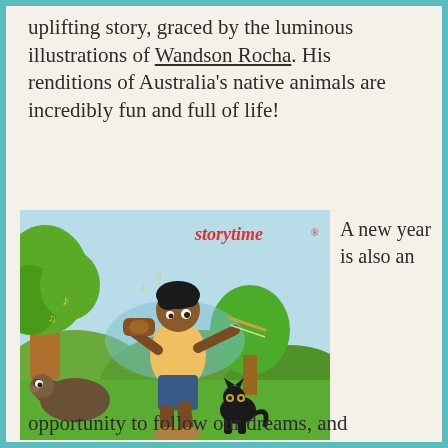uplifting story, graced by the luminous illustrations of Wandson Rocha. His renditions of Australia's native animals are incredibly fun and full of life!
[Figure (illustration): Illustration of a boy playing violin outdoors surrounded by animals (a wombat and a black cat), with trees and hills in the background. The 'storytime' logo appears in red in the top right of the image.]
A new year is also an
opportunity to follow our dreams, and